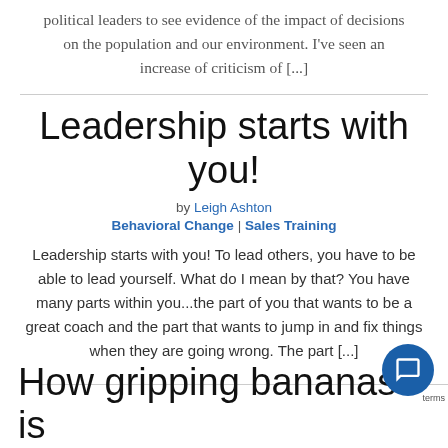political leaders to see evidence of the impact of decisions on the population and our environment. I've seen an increase of criticism of [...]
Leadership starts with you!
by Leigh Ashton
Behavioral Change | Sales Training
Leadership starts with you! To lead others, you have to be able to lead yourself. What do I mean by that? You have many parts within you...the part of you that wants to be a great coach and the part that wants to jump in and fix things when they are going wrong. The part [...]
How gripping bananas is